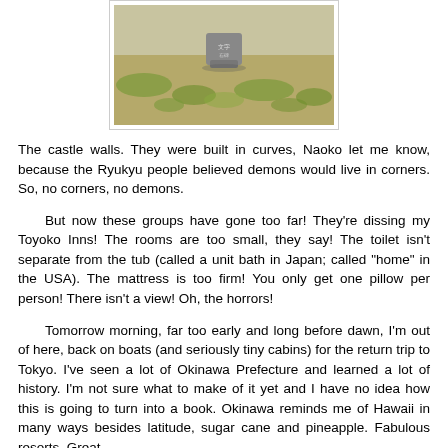[Figure (photo): Photograph of grassy ground with a stone monument or marker with Japanese text, set against a sparse grassy field.]
The castle walls. They were built in curves, Naoko let me know, because the Ryukyu people believed demons would live in corners. So, no corners, no demons.
But now these groups have gone too far! They're dissing my Toyoko Inns! The rooms are too small, they say! The toilet isn't separate from the tub (called a unit bath in Japan; called "home" in the USA). The mattress is too firm! You only get one pillow per person! There isn't a view! Oh, the horrors!
Tomorrow morning, far too early and long before dawn, I'm out of here, back on boats (and seriously tiny cabins) for the return trip to Tokyo. I've seen a lot of Okinawa Prefecture and learned a lot of history. I'm not sure what to make of it yet and I have no idea how this is going to turn into a book. Okinawa reminds me of Hawaii in many ways besides latitude, sugar cane and pineapple. Fabulous resorts. Great